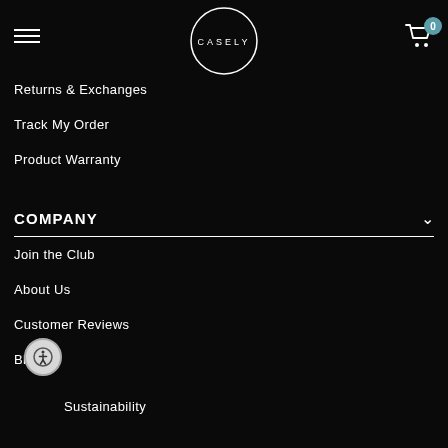CASELY
Returns & Exchanges
Track My Order
Product Warranty
COMPANY
Join the Club
About Us
Customer Reviews
Blog
Sustainability